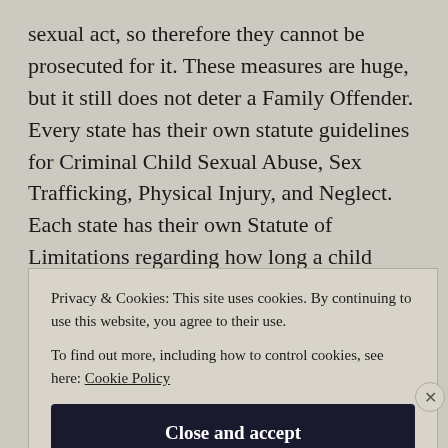sexual act, so therefore they cannot be prosecuted for it. These measures are huge, but it still does not deter a Family Offender. Every state has their own statute guidelines for Criminal Child Sexual Abuse, Sex Trafficking, Physical Injury, and Neglect. Each state has their own Statute of Limitations regarding how long a child victim has to bring forth charges for their
Privacy & Cookies: This site uses cookies. By continuing to use this website, you agree to their use.
To find out more, including how to control cookies, see here: Cookie Policy
Close and accept